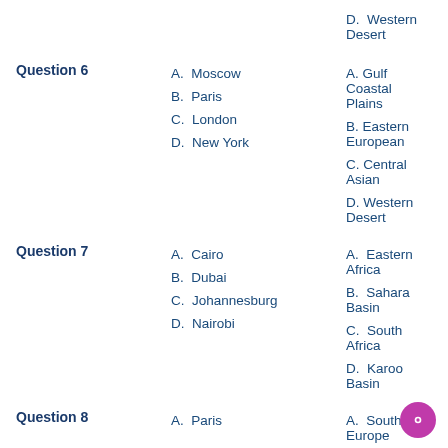D. Western Desert
Question 6
A. Moscow
A. Gulf Coastal Plains
B. Paris
B. Eastern European
C. London
C. Central Asian
D. New York
D. Western Desert
Question 7
A. Cairo
A. Eastern Africa
B. Dubai
B. Sahara Basin
C. Johannesburg
C. South Africa
D. Nairobi
D. Karoo Basin
Question 8
A. Paris
A. Southern Europe